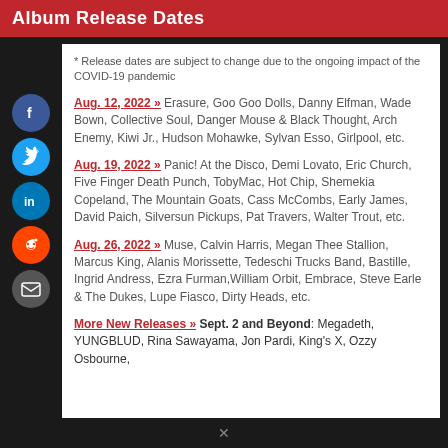Album Release Dates
* Release dates are subject to change due to the ongoing impact of the COVID-19 pandemic
Aug. 12, 2022 » Erasure, Goo Goo Dolls, Danny Elfman, Wade Bown, Collective Soul, Danger Mouse & Black Thought, Arch Enemy, Kiwi Jr., Hudson Mohawke, Sylvan Esso, Girlpool, etc.
Aug. 19, 2022 » Panic! At the Disco, Demi Lovato, Eric Church, Five Finger Death Punch, TobyMac, Hot Chip, Shemekia Copeland, The Mountain Goats, Cass McCombs, Early James, David Paich, Silversun Pickups, Pat Travers, Walter Trout, etc.
Aug. 26, 2022 » Muse, Calvin Harris, Megan Thee Stallion, Marcus King, Alanis Morissette, Tedeschi Trucks Band, Bastille, Ingrid Andress, Ezra Furman, William Orbit, Embrace, Steve Earle & The Dukes, Lupe Fiasco, Dirty Heads, etc.
More New Releases » Sept. 2 and Beyond: Megadeth, YUNGBLUD, Rina Sawayama, Jon Pardi, King's X, Ozzy Osbourne,